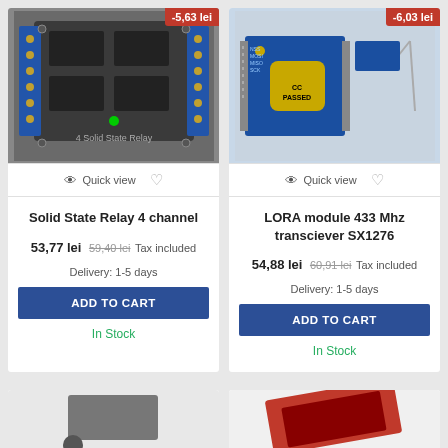[Figure (photo): Solid State Relay 4 channel module photo with -5,63 lei discount badge]
[Figure (photo): LORA module 433 Mhz transciever SX1276 photo with -6,03 lei discount badge]
Quick view
Quick view
Solid State Relay 4 channel
LORA module 433 Mhz transciever SX1276
53,77 lei 59,40 lei Tax included
Delivery: 1-5 days
54,88 lei 60,91 lei Tax included
Delivery: 1-5 days
ADD TO CART
ADD TO CART
In Stock
In Stock
[Figure (photo): Partial product card bottom left with discount badge -5,71 lei (partially visible)]
[Figure (photo): Partial product card bottom right with discount badge -3,43 lei (partially visible)]